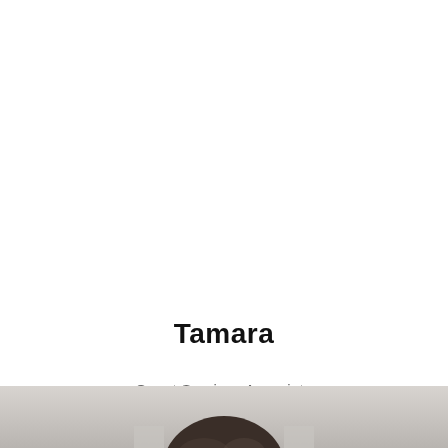Tamara
Guest Services Associate
Up & Coming Associate Stylist
[Figure (photo): Bottom portion of a person's head/hair visible at the very bottom of the page, cropped profile photo of Tamara]